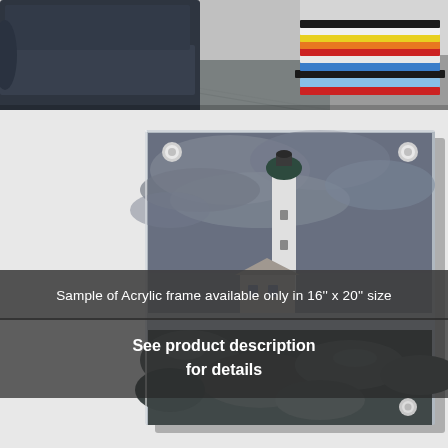[Figure (photo): Top portion of a product listing page showing a living room scene with a dark sofa, gray carpet, and a stack of colorful books on the right side.]
[Figure (photo): An acrylic wall frame mounted with standoffs, displaying a lighthouse photograph against a dramatic cloudy sky, with rocks in the foreground.]
Sample of Acrylic frame available only in 16'' x 20'' size
See product description
for details